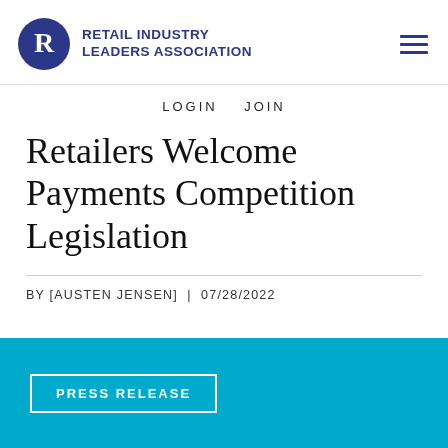RETAIL INDUSTRY LEADERS ASSOCIATION
LOGIN  JOIN
Retailers Welcome Payments Competition Legislation
BY [AUSTEN JENSEN] | 07/28/2022
PRESS RELEASE